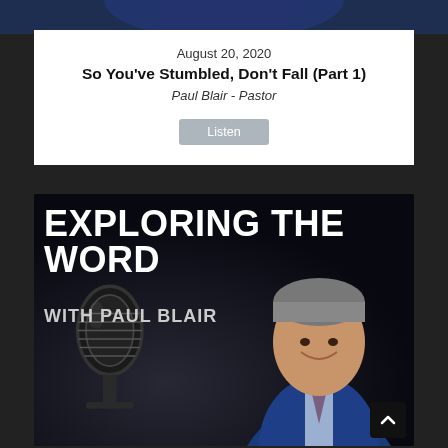[Figure (photo): Top partial photo of a man in a blue suit, cropped at top of page]
August 20, 2020
So You've Stumbled, Don't Fall (Part 1)
Paul Blair - Pastor
Listen
[Figure (photo): Podcast promotional image: 'Exploring The Word with Paul Blair' with microphone graphic and photo of Paul Blair, a middle-aged man in blue suit smiling]